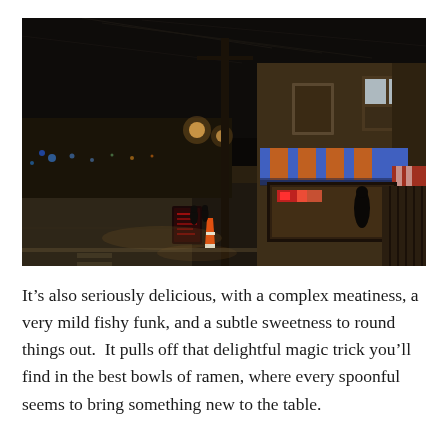[Figure (photo): Nighttime street photograph of a corner restaurant or shop with a blue and orange striped awning, illuminated storefront, brick building with upper-floor windows, utility pole with wires, street with lane markings, traffic cone, sidewalk chalkboard sign, and city lights in the background.]
It’s also seriously delicious, with a complex meatiness, a very mild fishy funk, and a subtle sweetness to round things out.  It pulls off that delightful magic trick you’ll find in the best bowls of ramen, where every spoonful seems to bring something new to the table.